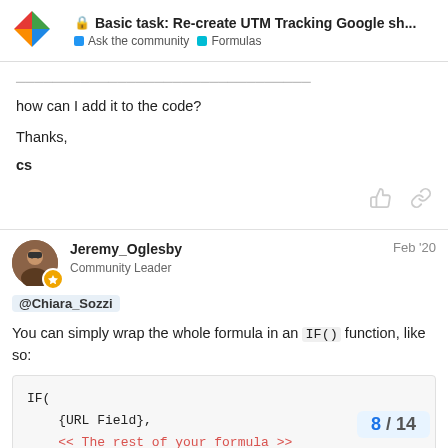Basic task: Re-create UTM Tracking Google sh... | Ask the community | Formulas
how can I add it to the code?

Thanks,
cs
Jeremy_Oglesby Community Leader Feb '20
@Chiara_Sozzi
You can simply wrap the whole formula in an IF() function, like so:
IF(
    {URL Field},
    << The rest of your formula >>
)